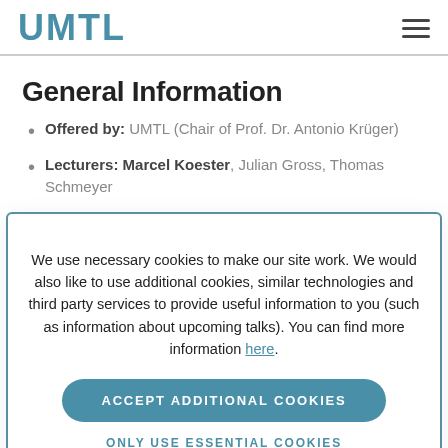UMTL
General Information
Offered by: UMTL (Chair of Prof. Dr. Antonio Krüger)
Lecturers: Marcel Koester, Julian Gross, Thomas Schmeyer
We use necessary cookies to make our site work. We would also like to use additional cookies, similar technologies and third party services to provide useful information to you (such as information about upcoming talks). You can find more information here.
ACCEPT ADDITIONAL COOKIES
ONLY USE ESSENTIAL COOKIES